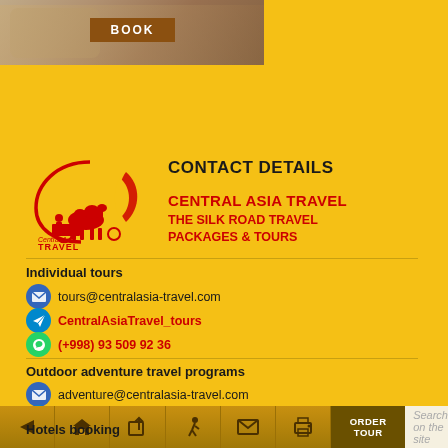[Figure (photo): Car interior photo with BOOK button overlay]
[Figure (logo): Central Asia Travel logo with crescent moon and camel cart illustration, red on cream]
CONTACT DETAILS
CENTRAL ASIA TRAVEL
THE SILK ROAD TRAVEL PACKAGES & TOURS
Individual tours
tours@centralasia-travel.com
CentralAsiaTravel_tours
(+998) 93 509 92 36
Outdoor adventure travel programs
adventure@centralasia-travel.com
CATravel_Adventure
(+996) 556 65 77 99
Hotels booking
Booking Central Asia Travel